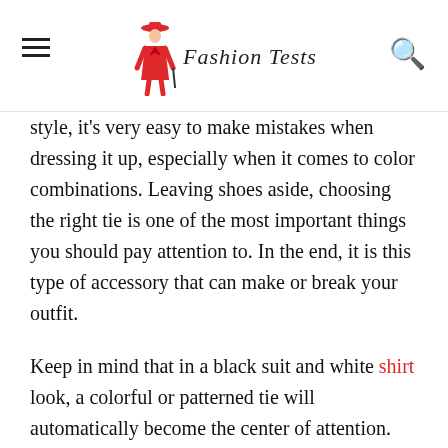Fashion Tests
style, it's very easy to make mistakes when dressing it up, especially when it comes to color combinations. Leaving shoes aside, choosing the right tie is one of the most important things you should pay attention to. In the end, it is this type of accessory that can make or break your outfit.
Keep in mind that in a black suit and white shirt look, a colorful or patterned tie will automatically become the center of attention. For such a seemingly small accessory, it can completely change the tone of your outfit.
That is why it is so important that you choose the right color tie to complement your outfit. As usual, there are some color shades that you need to stay away from and others that will look great on any occasion. It may sound overwhelming, but thankfully with these few simple tips you will find it's not that